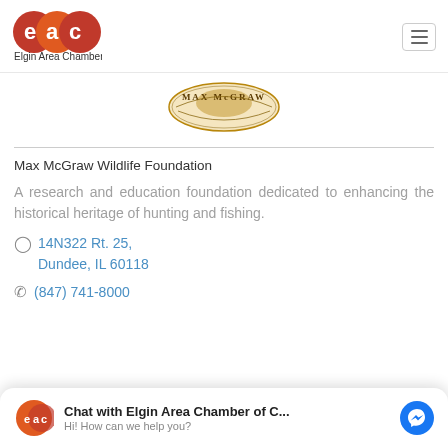[Figure (logo): Elgin Area Chamber EAC logo — two overlapping orange circles with white 'e', 'a', 'c' letters, and text 'Elgin Area Chamber' below]
[Figure (logo): Max McGraw Wildlife Foundation logo — circular emblem with golden/brown wildlife illustration and text 'MAX McGRAW']
Max McGraw Wildlife Foundation
A research and education foundation dedicated to enhancing the historical heritage of hunting and fishing.
14N322 Rt. 25, Dundee, IL 60118
(847) 741-8000
Chat with Elgin Area Chamber of C... Hi! How can we help you?